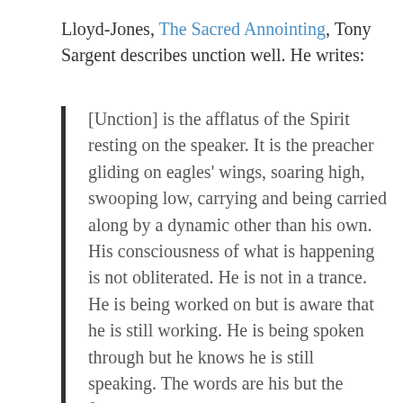Lloyd-Jones, The Sacred Annointing, Tony Sargent describes unction well. He writes:
[Unction] is the afflatus of the Spirit resting on the speaker. It is the preacher gliding on eagles' wings, soaring high, swooping low, carrying and being carried along by a dynamic other than his own. His consciousness of what is happening is not obliterated. He is not in a trance. He is being worked on but is aware that he is still working. He is being spoken through but he knows he is still speaking. The words are his but the facility with which they